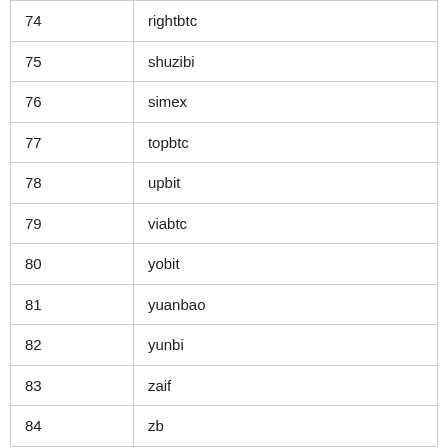| # | Exchange |
| --- | --- |
| 74 | rightbtc |
| 75 | shuzibi |
| 76 | simex |
| 77 | topbtc |
| 78 | upbit |
| 79 | viabtc |
| 80 | yobit |
| 81 | yuanbao |
| 82 | yunbi |
| 83 | zaif |
| 84 | zb |
（续表）